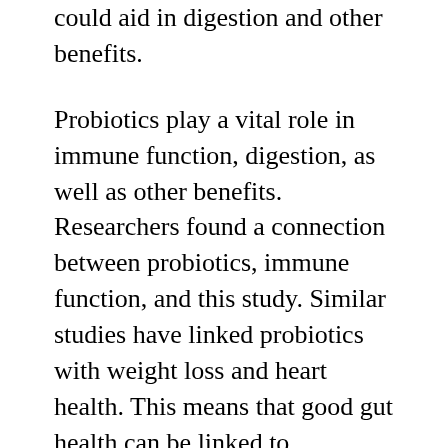could aid in digestion and other benefits.
Probiotics play a vital role in immune function, digestion, as well as other benefits. Researchers found a connection between probiotics, immune function, and this study. Similar studies have linked probiotics with weight loss and heart health. This means that good gut health can be linked to improved overall health and wellbeing.
Okinawa Flat Belly Tonic is more than just probiotics. It also contains Aronia juice. Researchers discovered that Aronia juice was the richest natural source of vitamin C in the world. This means that consuming it could...